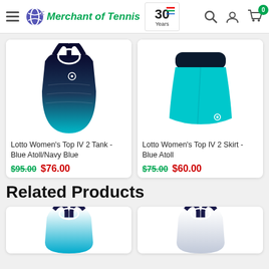Merchant of Tennis — 30 Years
[Figure (photo): Lotto Women's Top IV 2 Tank in Blue Atoll/Navy Blue — racerback tank top with teal-to-navy gradient]
[Figure (photo): Lotto Women's Top IV 2 Skirt in Blue Atoll — teal mini skirt with dark navy waistband]
Lotto Women's Top IV 2 Tank - Blue Atoll/Navy Blue
$95.00 $76.00
Lotto Women's Top IV 2 Skirt - Blue Atoll
$75.00 $60.00
Related Products
[Figure (photo): Related product — tennis top partially visible at bottom left]
[Figure (photo): Related product — tennis top partially visible at bottom right]